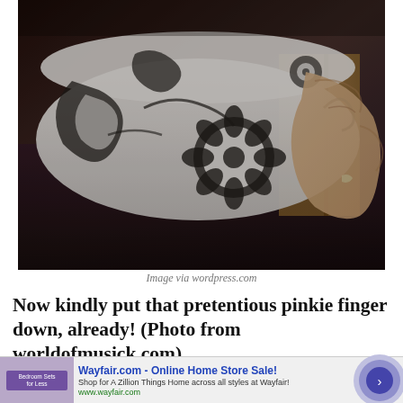[Figure (photo): Close-up photo of a hand gripping a decorative black and white floral patterned mug/bowl. The ceramicware features intricate paisley and flower motifs. The image has a vintage filtered look. Background shows a dark surface and partial doorway.]
Image via wordpress.com
Now kindly put that pretentious pinkie finger down, already! (Photo from worldofmusick.com)
[Figure (screenshot): Advertisement banner for Wayfair.com - Online Home Store Sale! Shows 'Shop for A Zillion Things Home across all styles at Wayfair!' and www.wayfair.com URL. Includes a small product image thumbnail on the left and a blue circular arrow button on the right.]